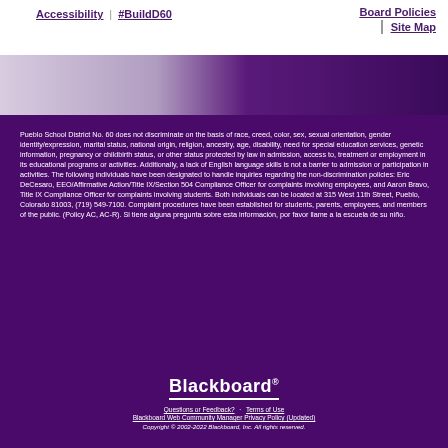Accessibility | #BuildD60   Board Policies   Site Map
[Figure (photo): Purple and lavender gradient image strip representing a school scene]
Pueblo School District No. 60 does not discriminate on the basis of race, creed, color, sex, sexual orientation, gender identity/expression, marital status, national origin, religion, ancestry, age, disability, need for special education services, genetic information, pregnancy or childbirth status, or other status protected by law in admission, access to, treatment or employment in its educational programs or activities. Additionally, a lack of English language skills is not a barrier to admission or participation in activities. The following individuals have been designated to handle inquiries regarding the non-discrimination policies: Eric DeCesaro, EEO/Affirmative Action/Title IX/Section 504 Compliance Officer for complaints involving employees, and Aaron Bravo, Title IX Compliance Officer for complaints involving students. Both individuals can be located at 315 West 11th Street, Pueblo, Colorado 81003, (719) 549-7100. Complaint procedures have been established for students, parents, employees, and members of the public. (Policy AC, AC-R). Si tiene alguna pregunta sobre esta información, por favor llame a la escuela de su niño.
Blackboard
Questions or Feedback? · Terms of Use
Blackboard Web Community Manager Privacy Policy (Updated)
Copyright © 2002-2022 Blackboard, Inc. All rights reserved.